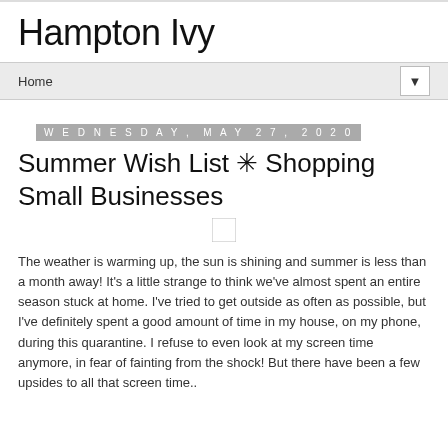Hampton Ivy
Home ▼
Wednesday, May 27, 2020
Summer Wish List ✳ Shopping Small Businesses
The weather is warming up, the sun is shining and summer is less than a month away! It's a little strange to think we've almost spent an entire season stuck at home. I've tried to get outside as often as possible, but I've definitely spent a good amount of time in my house, on my phone, during this quarantine. I refuse to even look at my screen time anymore, in fear of fainting from the shock! But there have been a few upsides to all that screen time..